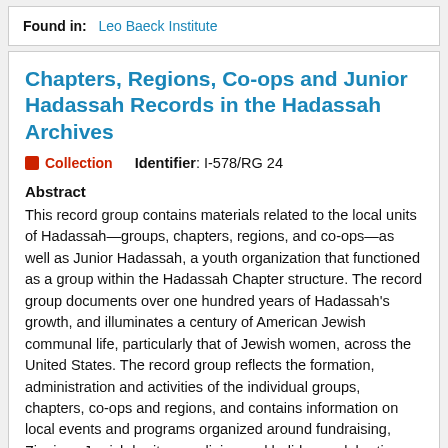Found in:  Leo Baeck Institute
Chapters, Regions, Co-ops and Junior Hadassah Records in the Hadassah Archives
Collection   Identifier: I-578/RG 24
Abstract
This record group contains materials related to the local units of Hadassah—groups, chapters, regions, and co-ops—as well as Junior Hadassah, a youth organization that functioned as a group within the Hadassah Chapter structure. The record group documents over one hundred years of Hadassah's growth, and illuminates a century of American Jewish communal life, particularly that of Jewish women, across the United States. The record group reflects the formation, administration and activities of the individual groups, chapters, co-ops and regions, and contains information on local events and programs organized around fundraising, Zionism, Jewish heritage, religion and holidays celebration, the study